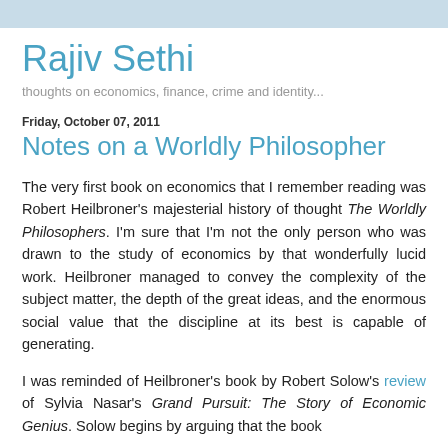Rajiv Sethi
thoughts on economics, finance, crime and identity...
Friday, October 07, 2011
Notes on a Worldly Philosopher
The very first book on economics that I remember reading was Robert Heilbroner's majesterial history of thought The Worldly Philosophers. I'm sure that I'm not the only person who was drawn to the study of economics by that wonderfully lucid work. Heilbroner managed to convey the complexity of the subject matter, the depth of the great ideas, and the enormous social value that the discipline at its best is capable of generating.
I was reminded of Heilbroner's book by Robert Solow's review of Sylvia Nasar's Grand Pursuit: The Story of Economic Genius. Solow begins by arguing that the book